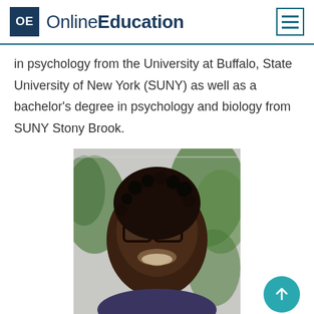OE OnlineEducation
in psychology from the University at Buffalo, State University of New York (SUNY) as well as a bachelor's degree in psychology and biology from SUNY Stony Brook.
[Figure (photo): Portrait photo of Dr. Kesia Constantine, a woman with natural hair, glasses, smiling, with green plants in the background.]
KESIA CONSTANTINE, PhD
Dr. Kesia Constantine is a clinical associate professor in the